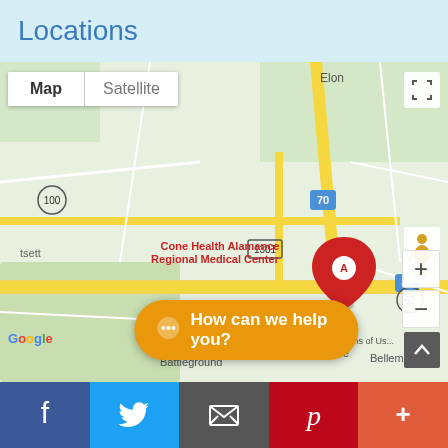Locations
[Figure (map): Google Map showing Cone Health Alamance Regional Medical Center with a red marker labeled A near Burlington, NC area. Map shows routes 70, 40, 62, 1301, 100, and nearby area including Elon, Burlington City Park Amusement Area (Temporarily closed), Alamance Battleground, Alamance, and Bellemont. Map/Satellite toggle and zoom controls visible.]
How can we help you?